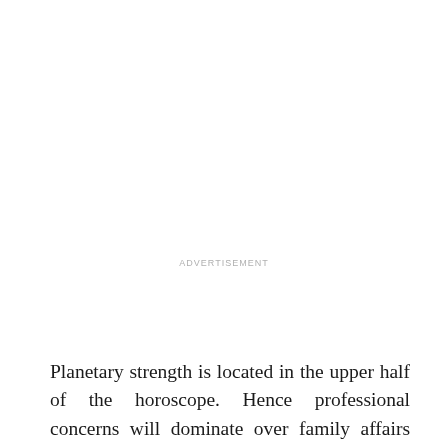ADVERTISEMENT
Planetary strength is located in the upper half of the horoscope. Hence professional concerns will dominate over family affairs and emotional matters. Venus is helping career growth of Cancer personality.